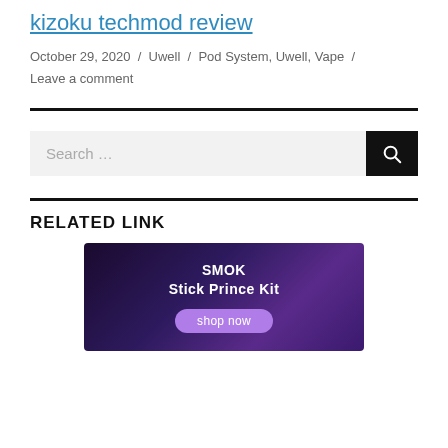kizoku techmod review
October 29, 2020  /  Uwell  /  Pod System, Uwell, Vape  /  Leave a comment
[Figure (screenshot): Search bar with dark search button containing a magnifying glass icon]
RELATED LINK
[Figure (illustration): SMOK Stick Prince Kit advertisement banner with purple gradient background and 'shop now' button]